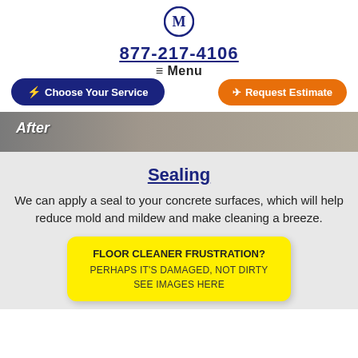[Figure (logo): Circular logo with 'M' letter in navy blue]
877-217-4106
≡ Menu
[Figure (infographic): Two buttons: '⚡ Choose Your Service' (navy blue, rounded) and '✈ Request Estimate' (orange, rounded)]
[Figure (photo): An 'After' image strip showing a concrete surface]
Sealing
We can apply a seal to your concrete surfaces, which will help reduce mold and mildew and make cleaning a breeze.
FLOOR CLEANER FRUSTRATION?
PERHAPS IT'S DAMAGED, NOT DIRTY
SEE IMAGES HERE